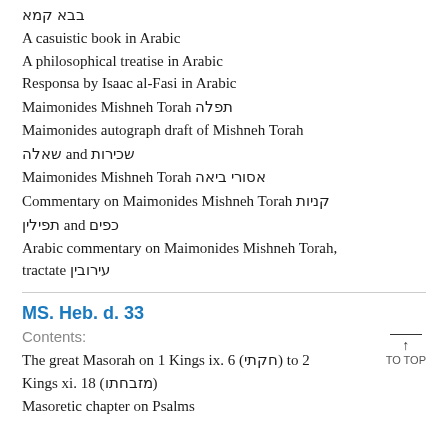בבא קמא
A casuistic book in Arabic
A philosophical treatise in Arabic
Responsa by Isaac al-Fasi in Arabic
Maimonides Mishneh Torah תפלה
Maimonides autograph draft of Mishneh Torah
שאלה and שכירות
Maimonides Mishneh Torah אסורי ביאה
Commentary on Maimonides Mishneh Torah קניות
תפילין and כפים
Arabic commentary on Maimonides Mishneh Torah, tractate עירובין
MS. Heb. d. 33
Contents:
The great Masorah on 1 Kings ix. 6 (חקתי) to 2 Kings xi. 18 (מזבחתו)
Masoretic chapter on Psalms